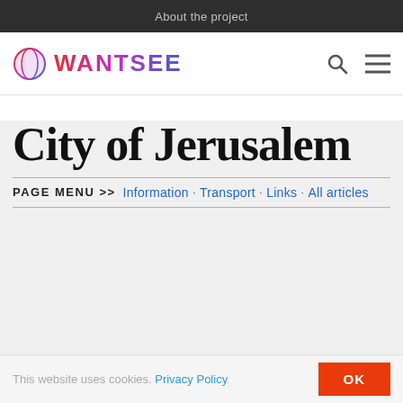About the project
[Figure (logo): WANTSEE globe logo with colorful gradient text and search/menu icons]
City of Jerusalem
PAGE MENU >> Information · Transport · Links · All articles
This website uses cookies. Privacy Policy OK